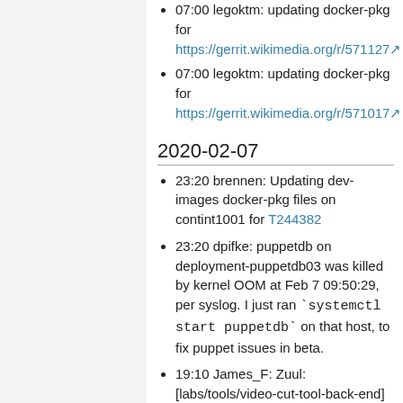07:00 legoktm: updating docker-pkg for https://gerrit.wikimedia.org/r/5711127
2020-02-07
23:20 brennen: Updating dev-images docker-pkg files on contint1001 for T244382
23:20 dpifke: puppetdb on deployment-puppetdb03 was killed by kernel OOM at Feb 7 09:50:29, per syslog. I just ran `systemctl start puppetdb` on that host, to fix puppet issues in beta.
19:10 James_F: Zuul: [labs/tools/video-cut-tool-back-end]